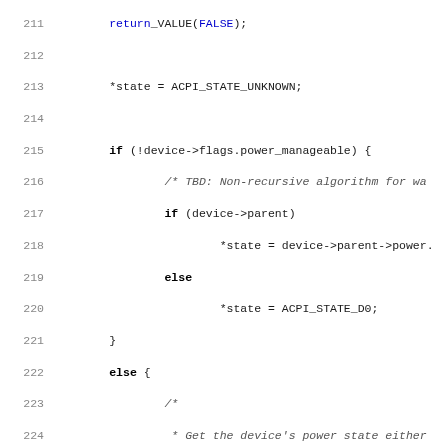[Figure (screenshot): Source code listing showing C code for ACPI device power state retrieval, lines 211-243, with syntax highlighting (keywords in bold, function calls in blue, string literals in red, comments in gray italic).]